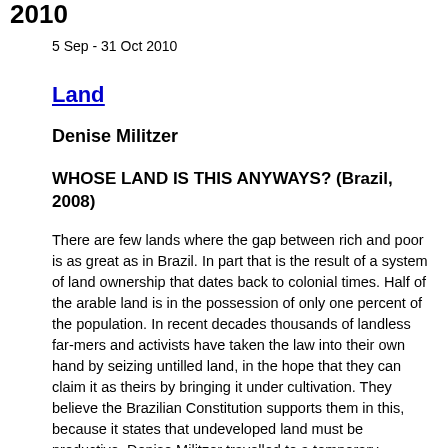2010
5 Sep - 31 Oct 2010
Land
Denise Militzer
WHOSE LAND IS THIS ANYWAYS? (Brazil, 2008)
There are few lands where the gap between rich and poor is as great as in Brazil. In part that is the result of a system of land ownership that dates back to colonial times. Half of the arable land is in the possession of only one percent of the population. In recent decades thousands of landless far-mers and activists have taken the law into their own hand by seizing untilled land, in the hope that they can claim it as theirs by bringing it under cultivation. They believe the Brazilian Constitution supports them in this, because it states that undeveloped land must be productive. Denise Militzer travelled to a temporary encampment of the Central Única dos Trabalhadores (CUT), a pressure group which like the better-known Movimento do...